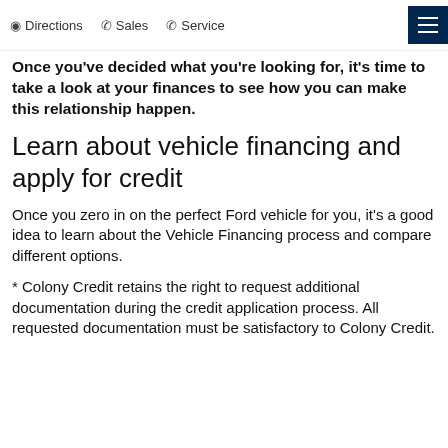Directions  Sales  Service
Once you've decided what you're looking for, it's time to take a look at your finances to see how you can make this relationship happen.
Learn about vehicle financing and apply for credit
Once you zero in on the perfect Ford vehicle for you, it's a good idea to learn about the Vehicle Financing process and compare different options.
* Colony Credit retains the right to request additional documentation during the credit application process. All requested documentation must be satisfactory to Colony Credit.